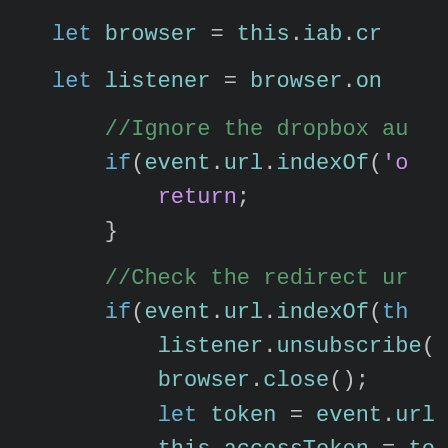[Figure (screenshot): Dark-themed code editor screenshot showing JavaScript code with syntax highlighting. Lines include: 'let browser = this.iab.cr', 'let listener = browser.on', '//Ignore the dropbox au', 'if(event.url.indexOf(\'o', 'return;', '}', '//Check the redirect ur', 'if(event.url.indexOf(th', 'listener.unsubscribe(', 'browser.close();', 'let token = event.url', 'this.accessToken = to'. Background is dark (#1e2022), keywords in blue, comments in green, strings/return in purple.]